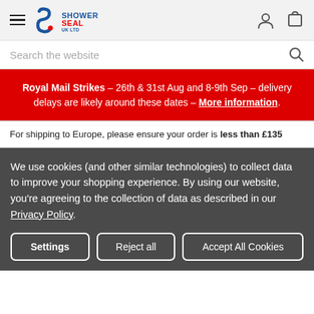Shower Seal UK Ltd — site header with hamburger menu, logo, user icon, cart icon
Search the website
Royal Mail Strikes – 26th & 31st Aug and 8-9th Sep – delivery delays are likely around these dates – More information.
For shipping to Europe, please ensure your order is less than £135
We use cookies (and other similar technologies) to collect data to improve your shopping experience. By using our website, you're agreeing to the collection of data as described in our Privacy Policy.
Settings | Reject all | Accept All Cookies